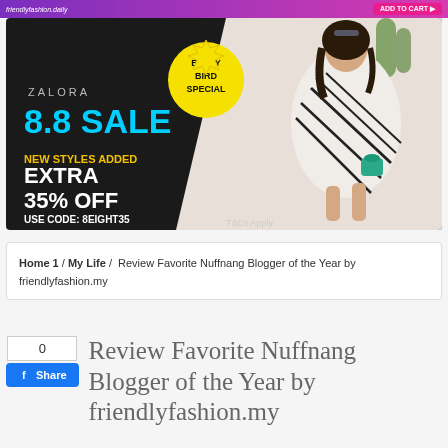[Figure (advertisement): Zalora 8.8 Sale banner ad with 'Early Bird Special' badge, 'New Styles Added Extra 35% Off, Use Code: 8EIGHT35', fashion model in black-and-white dress, T&Cs Apply]
Home 1 / My Life / Review Favorite Nuffnang Blogger of the Year by friendlyfashion.my
Review Favorite Nuffnang Blogger of the Year by friendlyfashion.my